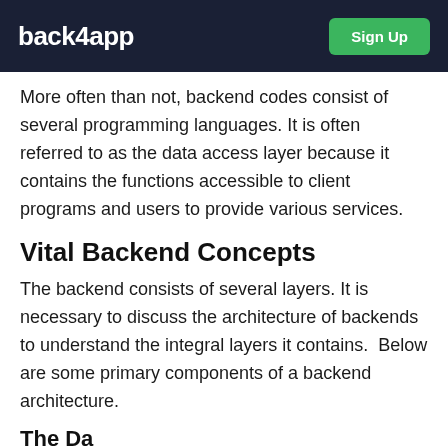back4app | Sign Up
More often than not, backend codes consist of several programming languages. It is often referred to as the data access layer because it contains the functions accessible to client programs and users to provide various services.
Vital Backend Concepts
The backend consists of several layers. It is necessary to discuss the architecture of backends to understand the integral layers it contains. Below are some primary components of a backend architecture.
The Da...